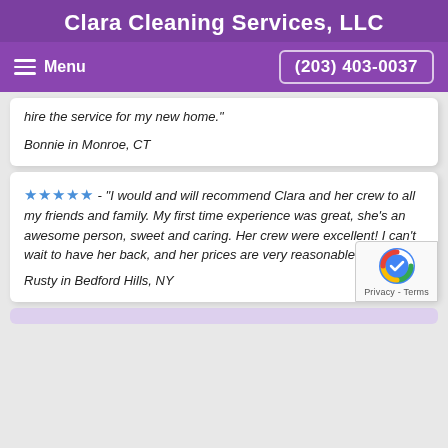Clara Cleaning Services, LLC
Menu  (203) 403-0037
hire the service for my new home.
Bonnie in Monroe, CT
★★★★★ - "I would and will recommend Clara and her crew to all my friends and family. My first time experience was great, she's an awesome person, sweet and caring. Her crew were excellent! I can't wait to have her back, and her prices are very reasonable."
Rusty in Bedford Hills, NY